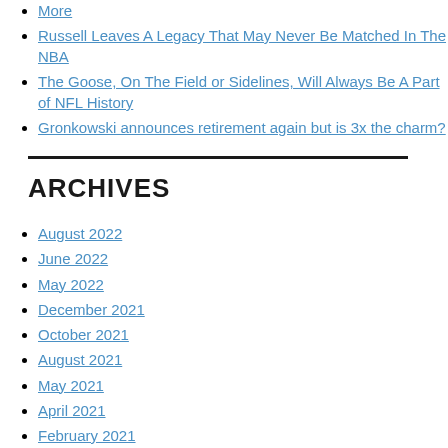More
Russell Leaves A Legacy That May Never Be Matched In The NBA
The Goose, On The Field or Sidelines, Will Always Be A Part of NFL History
Gronkowski announces retirement again but is 3x the charm?
ARCHIVES
August 2022
June 2022
May 2022
December 2021
October 2021
August 2021
May 2021
April 2021
February 2021